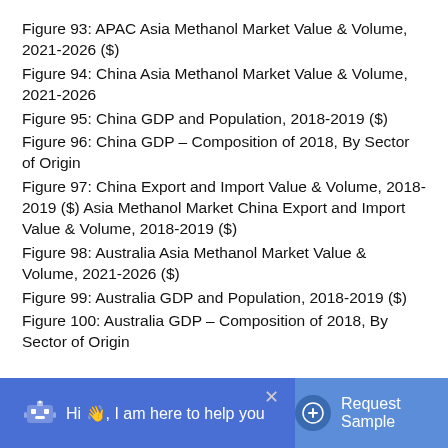Figure 93: APAC Asia Methanol Market Value & Volume, 2021-2026 ($)
Figure 94: China Asia Methanol Market Value & Volume, 2021-2026
Figure 95: China GDP and Population, 2018-2019 ($)
Figure 96: China GDP – Composition of 2018, By Sector of Origin
Figure 97: China Export and Import Value & Volume, 2018-2019 ($) Asia Methanol Market China Export and Import Value & Volume, 2018-2019 ($)
Figure 98: Australia Asia Methanol Market Value & Volume, 2021-2026 ($)
Figure 99: Australia GDP and Population, 2018-2019 ($)
Figure 100: Australia GDP – Composition of 2018, By Sector of Origin